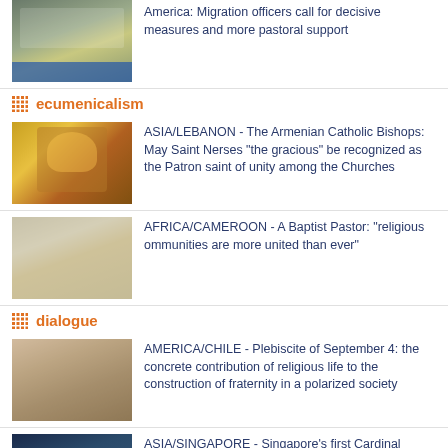[Figure (photo): Group of people seated at a table at a conference]
America: Migration officers call for decisive measures and more pastoral support
ecumenicalism
[Figure (photo): Painting of a bearded religious figure holding books]
ASIA/LEBANON - The Armenian Catholic Bishops: May Saint Nerses "the gracious" be recognized as the Patron saint of unity among the Churches
[Figure (photo): Group of people in white robes standing together]
AFRICA/CAMEROON - A Baptist Pastor: "religious ommunities are more united than ever"
dialogue
[Figure (photo): People at what appears to be a public gathering]
AMERICA/CHILE - Plebiscite of September 4: the concrete contribution of religious life to the construction of fraternity in a polarized society
[Figure (photo): Dark image with text COMMITMENT TO SAFEGUARD RELIG...]
ASIA/SINGAPORE - Singapore's first Cardinal promotes religious harmony with a research institute